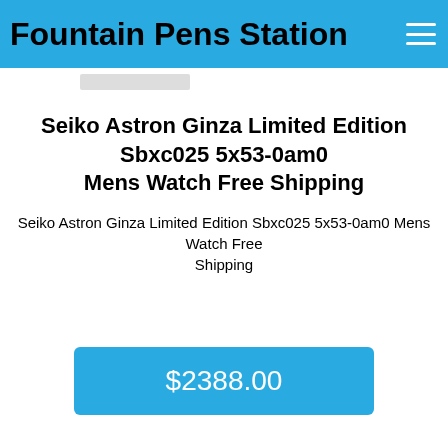Fountain Pens Station
[Figure (photo): Product image partially visible at top of page]
Seiko Astron Ginza Limited Edition Sbxc025 5x53-0am0 Mens Watch Free Shipping
Seiko Astron Ginza Limited Edition Sbxc025 5x53-0am0 Mens Watch Free Shipping
$2388.00